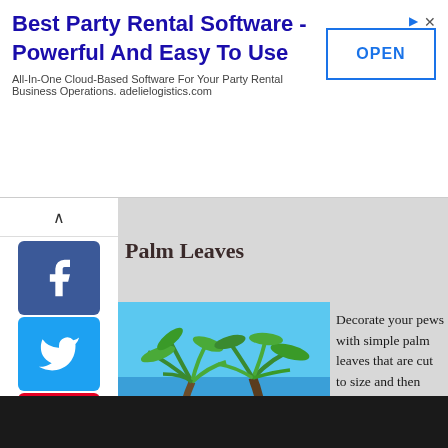[Figure (screenshot): Advertisement banner for Best Party Rental Software by Adelie Logistics with OPEN button]
[Figure (screenshot): Social media sharing sidebar with Facebook, Twitter, Pinterest, Tumblr, Reddit, WhatsApp icons and collapse arrow]
Palm Leaves
[Figure (photo): Beach scene with palm trees, a sandy path, and tropical wedding setup by the ocean]
Decorate your pews with simple palm leaves that are cut to size and then hung over the pews with some string or ribbon.
1. Beach Style Wedding Dresses
2. Beach Wedding Reception
Search for